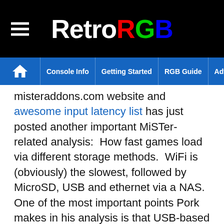RetroRGB
Console Info | Getting Started | RGB Guide | Advanced RGB Info | Ab
misteraddons.com website and awesome input latency list has just posted another important MiSTer-related analysis:  How fast games load via different storage methods.  WiFi is (obviously) the slowest, followed by MicroSD, USB and ethernet via a NAS.  One of the most important points Pork makes in his analysis is that USB-based storage solutions will all be similar in speed.  That means unlike use in a PC, using a 2.5” 5200RPM HDD vs an NVMe drive won’t give you any performance boost, however it will take a lot longer to copy files from your PC onto it when you load your ROMs.  Unless you need a ton of storage, I’d say just stick with MicroSD for now and look into a NAS-based